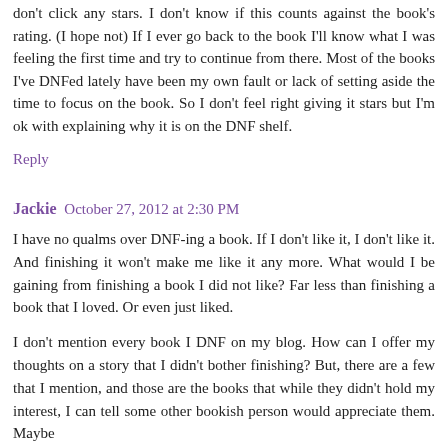don't click any stars. I don't know if this counts against the book's rating. (I hope not) If I ever go back to the book I'll know what I was feeling the first time and try to continue from there. Most of the books I've DNFed lately have been my own fault or lack of setting aside the time to focus on the book. So I don't feel right giving it stars but I'm ok with explaining why it is on the DNF shelf.
Reply
Jackie  October 27, 2012 at 2:30 PM
I have no qualms over DNF-ing a book. If I don't like it, I don't like it. And finishing it won't make me like it any more. What would I be gaining from finishing a book I did not like? Far less than finishing a book that I loved. Or even just liked.
I don't mention every book I DNF on my blog. How can I offer my thoughts on a story that I didn't bother finishing? But, there are a few that I mention, and those are the books that while they didn't hold my interest, I can tell some other bookish person would appreciate them. Maybe